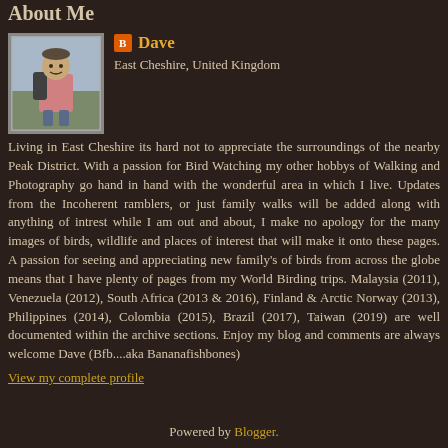About Me
[Figure (photo): Profile photo of Dave, a man standing outdoors wearing a pink shirt and backpack]
Dave
East Cheshire, United Kingdom
Living in East Cheshire its hard not to appreciate the surroundings of the nearby Peak District. With a passion for Bird Watching my other hobbys of Walking and Photography go hand in hand with the wonderful area in which I live. Updates from the Incoherent ramblers, or just family walks will be added along with anything of intrest while I am out and about, I make no apology for the many images of birds, wildlife and places of interest that will make it onto these pages. A passion for seeing and appreciating new family's of birds from across the globe means that I have plenty of pages from my World Birding trips. Malaysia (2011), Venezuela (2012), South Africa (2013 & 2016), Finland & Arctic Norway (2013), Philippines (2014), Colombia (2015), Brazil (2017), Taiwan (2019) are well documented within the archive sections. Enjoy my blog and comments are always welcome Dave (Bfb....aka Bananafishbones)
View my complete profile
Powered by Blogger.